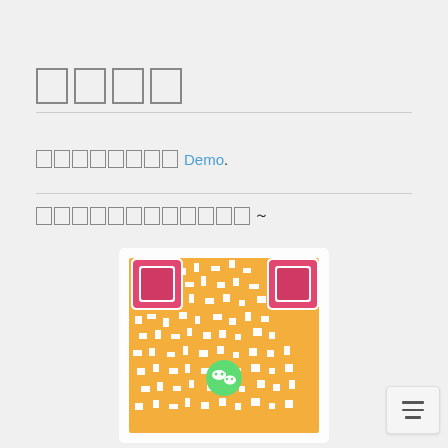□□□□
□□□□□□□□ Demo.
□□□□□□□□□□□□～
[Figure (other): WeChat QR code — orange and white pattern with red corner squares and a green WeChat logo in the center]